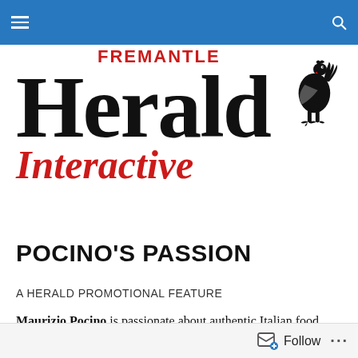Fremantle Herald Interactive — navigation bar
[Figure (logo): Fremantle Herald Interactive logo with rooster illustration. Large serif 'Herald' text, 'FREMANTLE' in red uppercase above, 'Interactive' in red italic script below, rooster illustration to the right.]
POCINO'S PASSION
A HERALD PROMOTIONAL FEATURE
Maurizio Pocino is passionate about authentic Italian food. Starting out at the tender age of 15, Maurizio began his apprenticeship in Rome, learning the culinary arts and
Follow